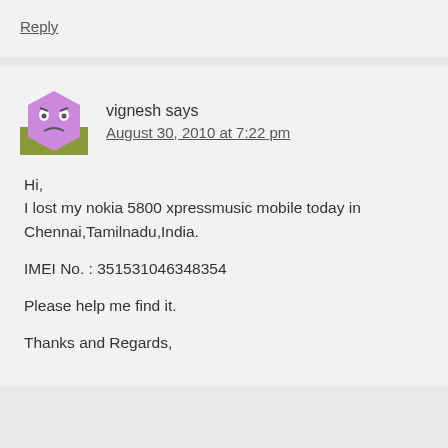Reply
vignesh says
August 30, 2010 at 7:22 pm
Hi,
I lost my nokia 5800 xpressmusic mobile today in Chennai,Tamilnadu,India.

IMEI No. : 351531046348354

Please help me find it.

Thanks and Regards,